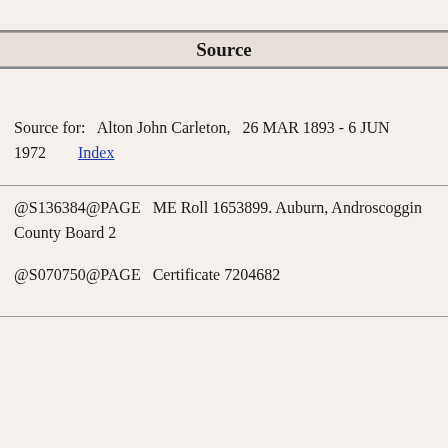Source
Source for:   Alton John Carleton,   26 MAR 1893 - 6 JUN 1972        Index
@S136384@PAGE   ME Roll 1653899. Auburn, Androscoggin County Board 2
@S070750@PAGE   Certificate 7204682